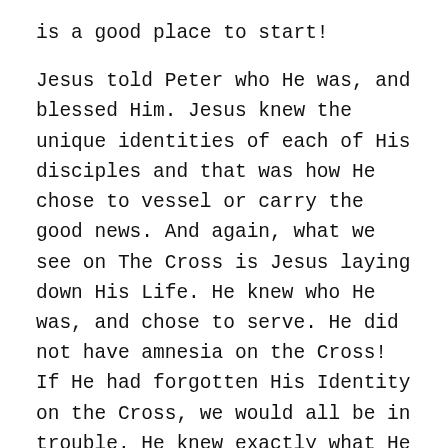is a good place to start! Jesus told Peter who He was, and blessed Him. Jesus knew the unique identities of each of His disciples and that was how He chose to vessel or carry the good news. And again, what we see on The Cross is Jesus laying down His Life. He knew who He was, and chose to serve. He did not have amnesia on the Cross! If He had forgotten His Identity on the Cross, we would all be in trouble. He knew exactly what He was laying down. In this sense, Jesus was not victimized by The Cross. He chose it.